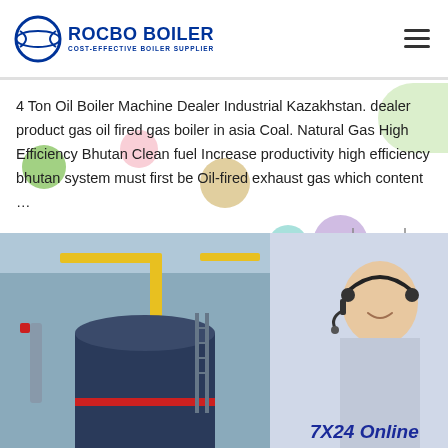ROCBO BOILER – COST-EFFECTIVE BOILER SUPPLIER
4 Ton Oil Boiler Machine Dealer Industrial Kazakhstan. dealer product gas oil fired gas boiler in asia Coal. Natural Gas High Efficiency Bhutan Clean fuel Increase productivity high efficiency bhutan system must first be Oil-fired exhaust gas which content …
[Figure (screenshot): Green 'Get Price' button]
[Figure (infographic): 10% DISCOUNT promotional badge with hanging sign style]
[Figure (photo): Industrial boiler installation image on the left; customer service representative with headset on the right; '7X24 Online' text overlay at bottom right]